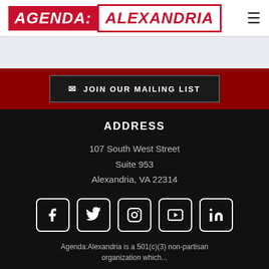AGENDA: ALEXANDRIA
JOIN OUR MAILING LIST
ADDRESS
107 South West Street
Suite 953
Alexandria, VA 22314
[Figure (infographic): Social media icons: Facebook, Twitter, Instagram, YouTube, LinkedIn]
Agenda:Alexandria is a 501(c)(3) non-partisan organization which...